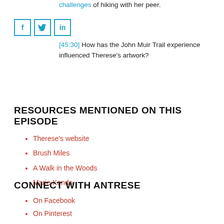[10:00] Therese talks about the benefits and challenges of hiking with her peer.
[Figure (illustration): Three social media share buttons: Facebook (f), Twitter (bird), LinkedIn (in), each in a square outlined box with blue borders]
[45:30] How has the John Muir Trail experience influenced Therese's artwork?
RESOURCES MENTIONED ON THIS EPISODE
Therese's website
Brush Miles
A Walk in the Woods
Marie Kondo
CONNECT WITH ANTRESE
On Facebook
On Pinterest
On Instagram